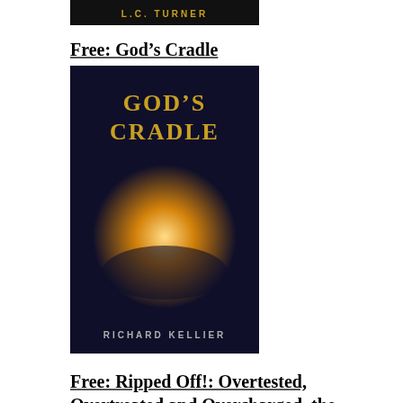[Figure (illustration): Book cover partial showing L.C. Turner author name on dark background]
Free: God's Cradle
[Figure (illustration): Book cover for God's Cradle by Richard Kellier, dark blue background with golden title text and glowing orb image]
Free: Ripped Off!: Overtested, Overtreated and Overcharged, the American Healthcare Mess
[Figure (illustration): Book cover for Ripped Off! showing red bold title text on gray/money background with caduceus medical symbol]
Free: Pay The Price: Creating Ethical Entrepreneurial